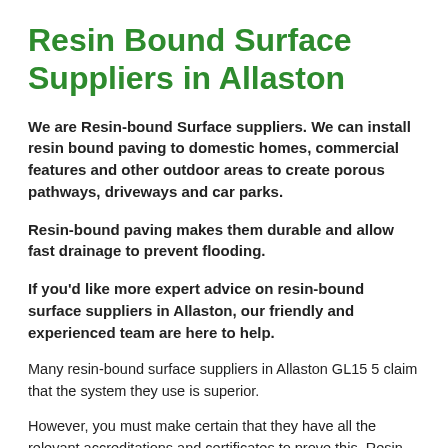Resin Bound Surface Suppliers in Allaston
We are Resin-bound Surface suppliers. We can install resin bound paving to domestic homes, commercial features and other outdoor areas to create porous pathways, driveways and car parks.
Resin-bound paving makes them durable and allow fast drainage to prevent flooding.
If you'd like more expert advice on resin-bound surface suppliers in Allaston, our friendly and experienced team are here to help.
Many resin-bound surface suppliers in Allaston GL15 5 claim that the system they use is superior.
However, you must make certain that they have all the relevant accreditations and certificates to prove this. Resin-bound surfacing can include: